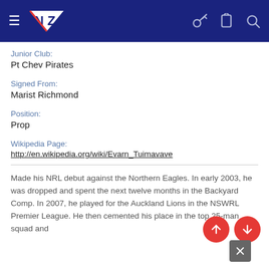NZ Warriors website header with logo and navigation icons
Junior Club:
Pt Chev Pirates
Signed From:
Marist Richmond
Position:
Prop
Wikipedia Page:
http://en.wikipedia.org/wiki/Evarn_Tuimavave
Made his NRL debut against the Northern Eagles. In early 2003, he was dropped and spent the next twelve months in the Ba...ard.... In 2007, he played for the Auckland Lions in the NSWRL...mie... League. He then cemented his place in the top 25-man squad and